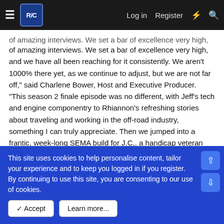RC [logo] | Log in | Register
of amazing interviews. We set a bar of excellence very high, and we have all been reaching for it consistently. We aren't 1000% there yet, as we continue to adjust, but we are not far off," said Charlene Bower, Host and Executive Producer. "This season 2 finale episode was no different, with Jeff's tech and engine componentry to Rhiannon's refreshing stories about traveling and working in the off-road industry, something I can truly appreciate. Then we jumped into a frantic, week-long SEMA build for J.C,. a handicap veteran and a week long adventure in Baja with BFG."
There are multiple ways to watch and listen to the show including YouTube, Vimeo, iTunes, SoundCloud, Spreaker, Stitcher, Tune In and more. Please feel free to share or embed the show as you would like. Dive in and learn more about each guest, and see all the watch and listen links at www.bowerpowerhour.com/october
This site uses cookies to help personalise content, tailor your experience and to keep you logged in if you register.
By continuing to use this site, you are consenting to our use of cookies.